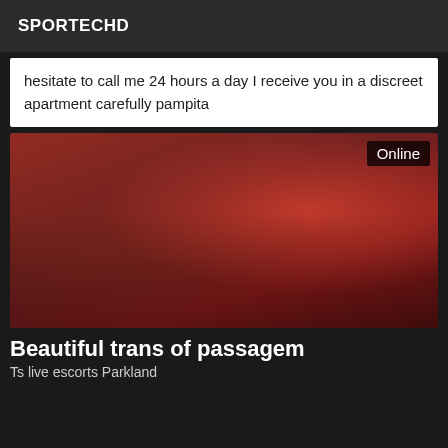SPORTECHD
hesitate to call me 24 hours a day I receive you in a discreet apartment carefully pampita
[Figure (photo): Woman posing on red cushioned furniture with red patterned curtains, labeled Online in top right]
Beautiful trans of passagem
Ts live escorts Parkland